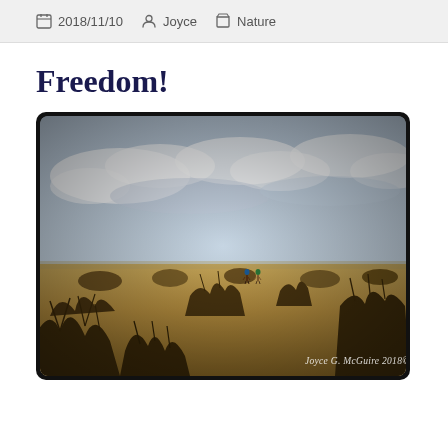2018/11/10   Joyce   Nature
Freedom!
[Figure (photo): Desert landscape photograph showing scrubby desert vegetation (sagebrush/tumbleweed) in sandy terrain with a wide open sky filled with clouds. Two small human figures visible in the middle distance. Watermark reads 'Joyce G. McGuire 2018©'. Photo has a vintage film slide look with dark rounded border.]